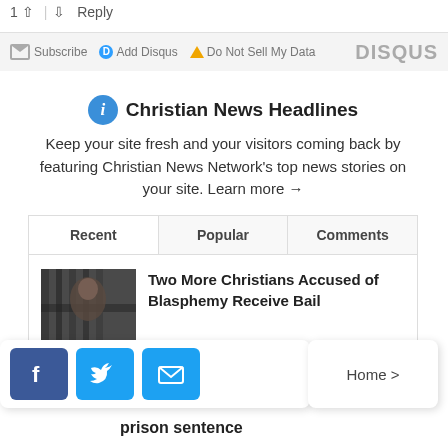1 ↑ | ↓ Reply
Subscribe  Add Disqus  Do Not Sell My Data  DISQUS
Christian News Headlines
Keep your site fresh and your visitors coming back by featuring Christian News Network's top news stories on your site. Learn more →
| Recent | Popular | Comments |
| --- | --- | --- |
Two More Christians Accused of Blasphemy Receive Bail
Home >
prison sentence